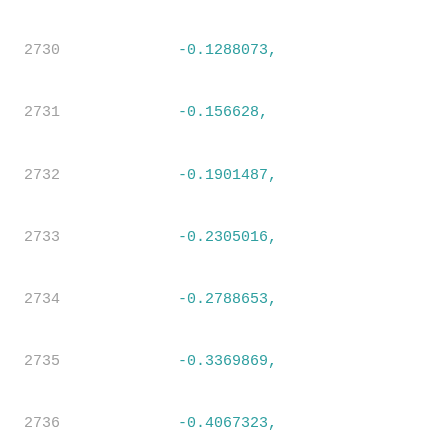2730   -0.1288073,
2731   -0.156628,
2732   -0.1901487,
2733   -0.2305016,
2734   -0.2788653,
2735   -0.3369869,
2736   -0.4067323,
2737   -0.4904622
2738   ],
2739   [
2740      0.0116487,
2741      -0.0027789,
2742      -0.0055197,
2743      -0.0087993,
2744      -0.0126348,
2745      -0.0172058,
2746      -0.0224843,
2747      -0.0290334,
2748      -0.036916,
2749      -0.0461922,
2750      -0.0572914,
2751      -0.0707702,